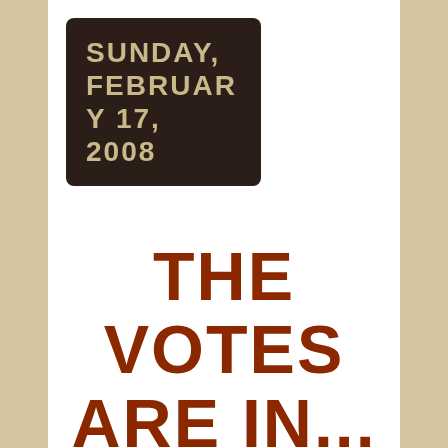SUNDAY, FEBRUARY 17, 2008
THE VOTES ARE IN...